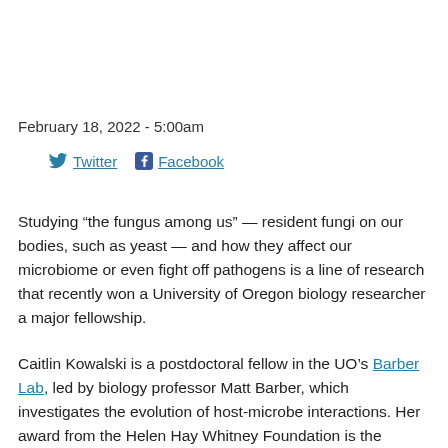February 18, 2022 - 5:00am
Twitter   Facebook
Studying “the fungus among us” — resident fungi on our bodies, such as yeast — and how they affect our microbiome or even fight off pathogens is a line of research that recently won a University of Oregon biology researcher a major fellowship.
Caitlin Kowalski is a postdoctoral fellow in the UO’s Barber Lab, led by biology professor Matt Barber, which investigates the evolution of host-microbe interactions. Her award from the Helen Hay Whitney Foundation is the